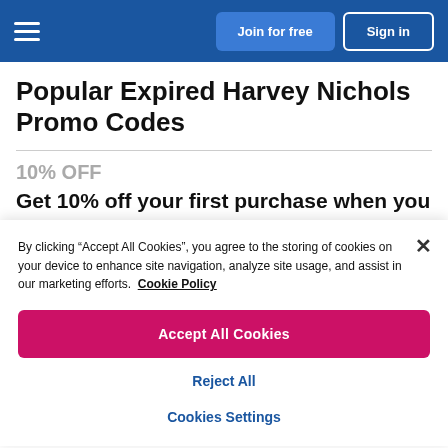Join for free | Sign in
Popular Expired Harvey Nichols Promo Codes
10% OFF
Get 10% off your first purchase when you
By clicking “Accept All Cookies”, you agree to the storing of cookies on your device to enhance site navigation, analyze site usage, and assist in our marketing efforts.  Cookie Policy
Accept All Cookies
Reject All
Cookies Settings